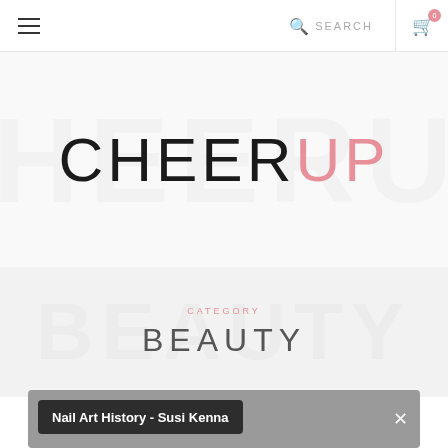CHEER UP – Navigation bar with hamburger menu, search, and cart (badge: 0)
[Figure (logo): CHEERUP logo in large thin font. 'CHEER' in dark/black, 'UP' in pink/rose color, on a light grey watermark background.]
CATEGORY — BEAUTY
[Figure (screenshot): Video thumbnail card with dark overlay title bar reading 'Nail Art History - Susi Kenna' and a close (×) button on the right.]